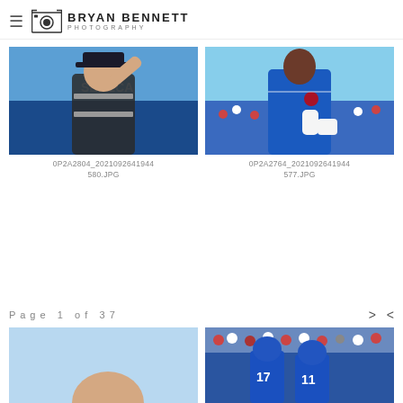Bryan Bennett Photography
[Figure (photo): NFL referee adjusting cap/earpiece at a Buffalo Bills game, blue stadium background with SENECA text]
0P2A2804_2021092641944580.JPG
[Figure (photo): Buffalo Bills player in blue jersey with thumbs up, stadium crowd in background]
0P2A2764_2021092641944577.JPG
Page 1 of 37
[Figure (photo): Partial photo of a person, mostly blue sky visible, cropped at bottom of page]
[Figure (photo): Buffalo Bills players #17 and #11 celebrating touchdown with crowd in background]